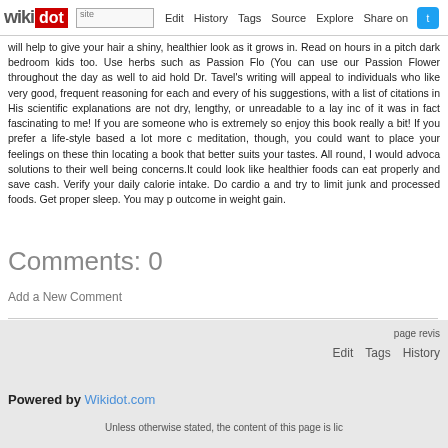wikidot | site | Edit | History | Tags | Source | Explore | Share on Twitter
will help to give your hair a shiny, healthier look as it grows in. Read on hours in a pitch dark bedroom kids too. Use herbs such as Passion Flo (You can use our Passion Flower throughout the day as well to aid hold Dr. Tavel's writing will appeal to individuals who like very good, frequent reasoning for each and every of his suggestions, with a list of citations in His scientific explanations are not dry, lengthy, or unreadable to a lay inc of it was in fact fascinating to me! If you are someone who is extremely so enjoy this book really a bit! If you prefer a life-style based a lot more c meditation, though, you could want to place your feelings on these thin locating a book that better suits your tastes. All round, I would advoca solutions to their well being concerns.It could look like healthier foods can eat properly and save cash. Verify your daily calorie intake. Do cardio a and try to limit junk and processed foods. Get proper sleep. You may p outcome in weight gain.
Comments: 0
Add a New Comment
page revis
Edit   Tags   History
Powered by Wikidot.com
Unless otherwise stated, the content of this page is lic